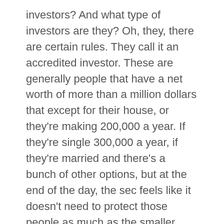investors? And what type of investors are they? Oh, they, there are certain rules. They call it an accredited investor. These are generally people that have a net worth of more than a million dollars that except for their house, or they're making 200,000 a year. If they're single 300,000 a year, if they're married and there's a bunch of other options, but at the end of the day, the sec feels like it doesn't need to protect those people as much as the smaller investors. So there's generally certain marketing things, networking things, et cetera, that you can do if you're really focused on the accredited investors that you can't do. If you're working with unaccredited investors on a credit investors, is everybody below the line. Uh, but there's also different exemptions and requirements that all...